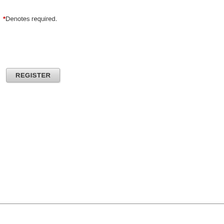*Denotes required.
[Figure (screenshot): A grey REGISTER button with bold uppercase text]